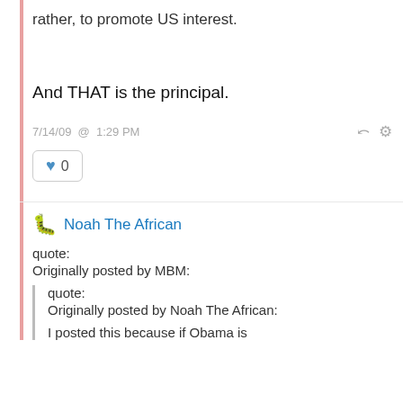rather, to promote US interest.
And THAT is the principal.
7/14/09 @ 1:29 PM
0
Noah The African
quote:
Originally posted by MBM:

quote:
Originally posted by Noah The African:

I posted this because if Obama is